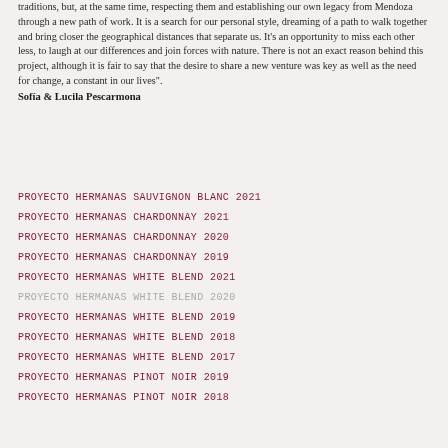traditions, but, at the same time, respecting them and establishing our own legacy from Mendoza through a new path of work. It is a search for our personal style, dreaming of a path to walk together and bring closer the geographical distances that separate us. It's an opportunity to miss each other less, to laugh at our differences and join forces with nature. There is not an exact reason behind this project, although it is fair to say that the desire to share a new venture was key as well as the need for change, a constant in our lives".
Sofía & Lucila Pescarmona
PROYECTO HERMANAS SAUVIGNON BLANC 2021
PROYECTO HERMANAS CHARDONNAY 2021
PROYECTO HERMANAS CHARDONNAY 2020
PROYECTO HERMANAS CHARDONNAY 2019
PROYECTO HERMANAS WHITE BLEND 2021
PROYECTO HERMANAS WHITE BLEND 2020
PROYECTO HERMANAS WHITE BLEND 2019
PROYECTO HERMANAS WHITE BLEND 2018
PROYECTO HERMANAS WHITE BLEND 2017
PROYECTO HERMANAS PINOT NOIR 2019
PROYECTO HERMANAS PINOT NOIR 2018